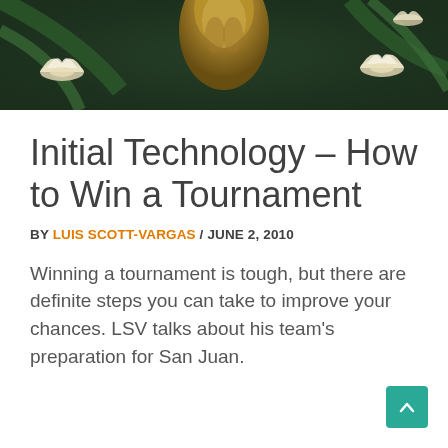[Figure (illustration): Fantasy illustration showing a serpent or dragon with lotus flowers on water, dark green tones]
Initial Technology – How to Win a Tournament
BY LUIS SCOTT-VARGAS / JUNE 2, 2010
Winning a tournament is tough, but there are definite steps you can take to improve your chances. LSV talks about his team's preparation for San Juan.